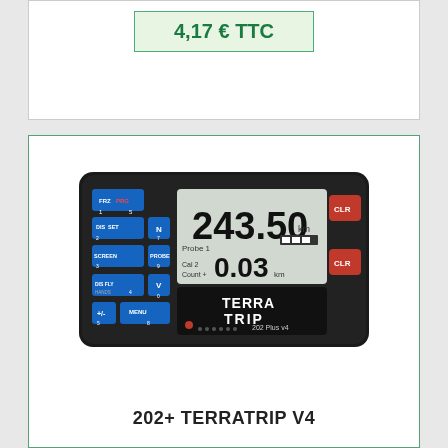4,17 € TTC
[Figure (photo): TerraTrip 202 Plus v4 rally computer device with blue keypad and LCD display showing 243.50km and 0.03km]
202+ TERRATRIP V4